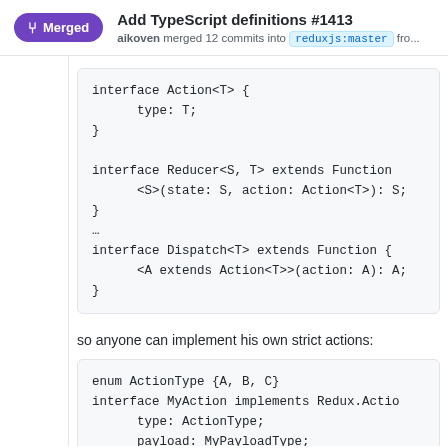Add TypeScript definitions #1413 — aikoven merged 12 commits into reduxjs:master fro...
[Figure (screenshot): Code block showing TypeScript interface definitions: interface Action<T> { type: T; }, interface Reducer<S, T> extends Function <S>(state: S, action: Action<T>): S; }, …, interface Dispatch<T> extends Function { <A extends Action<T>>(action: A): A; }]
so anyone can implement his own strict actions:
[Figure (screenshot): Code block showing: enum ActionType {A, B, C} interface MyAction implements Redux.Actio... type: ActionType; payload: MyPayloadType;]